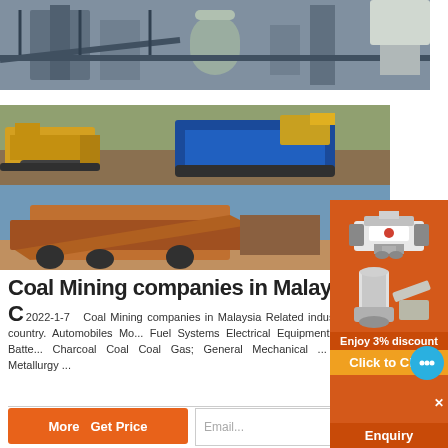[Figure (photo): Industrial mining facility with large equipment, silos and conveyor structures, industrial gray tones]
[Figure (photo): Two mining machines on dirt ground — yellow bulldozer/scraper on left, blue and yellow tracked crusher on right]
[Figure (photo): Large mining conveyor/screening equipment in desert/arid setting, orange and brown machine against blue sky]
Coal Mining companies in Malaysia - C
2022-1-7  Coal Mining companies in Malaysia Related industries Any country. Automobiles Mo... Fuel Systems Electrical Equipment Supplies Batte... Charcoal Coal Coal Gas; General Mechanical ... Minerals Metallurgy ...
[Figure (infographic): Orange advertisement sidebar: top shows VSI crusher machine photo, middle shows jaw crusher/mill machine photo, 'Enjoy 3% discount' text, 'Click to Chat' button in yellow-orange, blue chat bubble icon, X close button, and 'Enquiry' button at bottom]
[Figure (other): Orange button labeled More / Get Price, and white email input box labeled 'Email...']